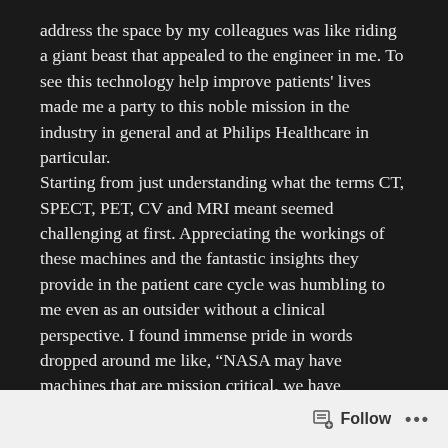address the space by my colleagues was like riding a giant beast that appealed to the engineer in me. To see this technology help improve patients' lives made me a party to this noble mission in the industry in general and at Philips Healthcare in particular.
Starting from just understanding what the terms CT, SPECT, PET, CV and MRI meant seemed challenging at first. Appreciating the workings of these machines and the fantastic insights they provide in the patient care cycle was humbling to me even as an outsider without a clinical perspective. I found immense pride in words dropped around me like, “NASA may have machines that are mission critical, we have machines that are life critical!”.
It was quite evident that we were fast approaching the
Follow ...